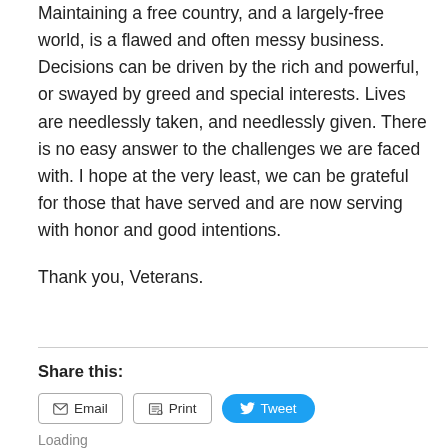Maintaining a free country, and a largely-free world, is a flawed and often messy business. Decisions can be driven by the rich and powerful, or swayed by greed and special interests. Lives are needlessly taken, and needlessly given. There is no easy answer to the challenges we are faced with. I hope at the very least, we can be grateful for those that have served and are now serving with honor and good intentions.
Thank you, Veterans.
Share this:
Loading